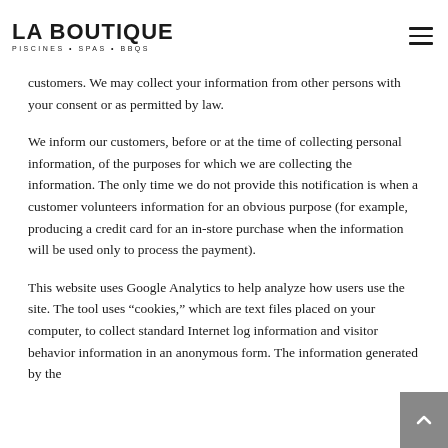La Boutique — Piscines • Spas • BBQs
customers. We may collect your information from other persons with your consent or as permitted by law.
We inform our customers, before or at the time of collecting personal information, of the purposes for which we are collecting the information. The only time we do not provide this notification is when a customer volunteers information for an obvious purpose (for example, producing a credit card for an in-store purchase when the information will be used only to process the payment).
This website uses Google Analytics to help analyze how users use the site. The tool uses “cookies,” which are text files placed on your computer, to collect standard Internet log information and visitor behavior information in an anonymous form. The information generated by the